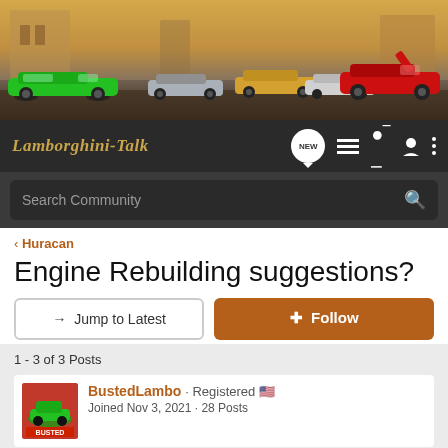[Figure (photo): Lamborghini-Talk forum header banner showing multiple Lamborghini sports cars (green, silver, gold, white, red) in an Italian urban setting]
Lamborghini-Talk [logo with nav icons: NEW, menu, user, more]
Search Community
< Huracan
Engine Rebuilding suggestions?
→ Jump to Latest
+ Follow
1 - 3 of 3 Posts
BustedLambo · Registered 🇺🇸
Joined Nov 3, 2021 · 28 Posts